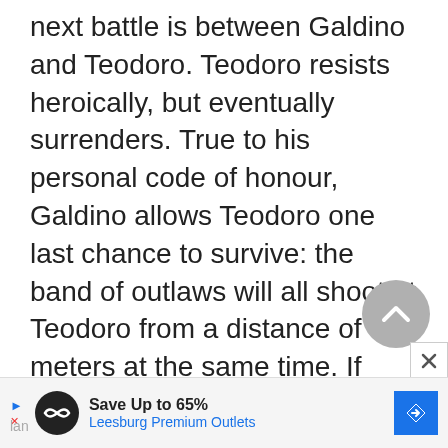next battle is between Galdino and Teodoro. Teodoro resists heroically, but eventually surrenders. True to his personal code of honour, Galdino allows Teodoro one last chance to survive: the band of outlaws will all shoot at Teodoro from a distance of 500 meters at the same time. If Teodoro is not hit, he is free to go. Teodoro accepts the deal, but he is shot and dies clutching a handful of "his" earth. Having said "a woman and lan
[Figure (other): Gray circular scroll-up button with chevron/caret icon pointing upward]
[Figure (other): White close button with X symbol]
[Figure (other): Advertisement banner: Save Up to 65% - Leesburg Premium Outlets, with circular logo icon and blue diamond navigation arrow]